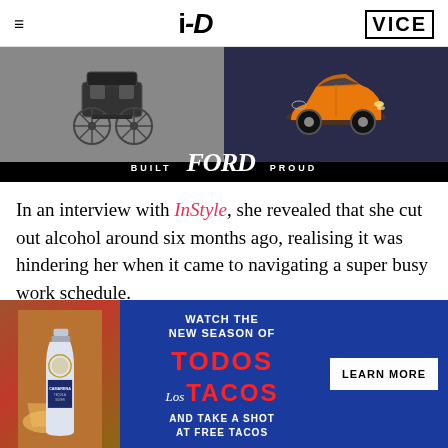i-D  VICE
[Figure (photo): Ford advertisement showing an antique black carriage on the left side and a golden modern Ford Mustang Mach-E SUV on the right side, with 'BUILT Ford PROUD' tagline at the bottom]
In an interview with InStyle, she revealed that she cut out alcohol around six months ago, realising it was hindering her when it came to navigating a super busy work schedule.
[Figure (photo): Camarena Tequila advertisement with blue background showing 'WATCH THE NEW SEASON OF TODOS Los TACOS AND TAKE A SHOT AT FREE TACOS' with a LEARN MORE button and a bottle of Camarena tequila with a cocktail on the left]